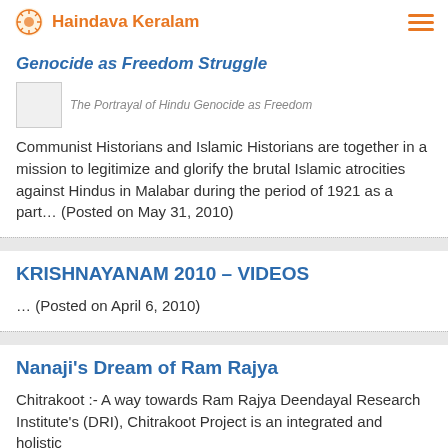Haindava Keralam
Genocide as Freedom Struggle
[Figure (photo): Article thumbnail image placeholder with caption: The Portrayal of Hindu Genocide as Freedom]
Communist Historians and Islamic Historians are together in a mission to legitimize and glorify the brutal Islamic atrocities against Hindus in Malabar during the period of 1921 as a part… (Posted on May 31, 2010)
KRISHNAYANAM 2010 – VIDEOS
… (Posted on April 6, 2010)
Nanaji's Dream of Ram Rajya
Chitrakoot :- A way towards Ram Rajya Deendayal Research Institute's (DRI), Chitrakoot Project is an integrated and holistic